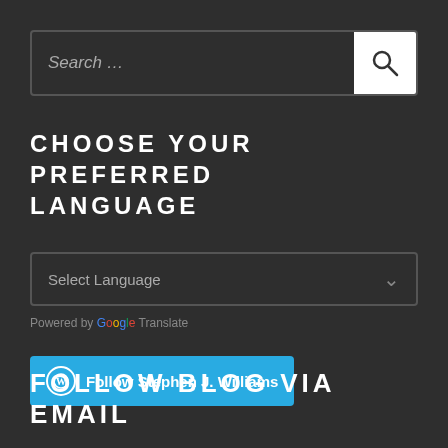Search …
CHOOSE YOUR PREFERRED LANGUAGE
Select Language
Powered by Google Translate
Follow Stephen J. Williams
FOLLOW BLOG VIA EMAIL